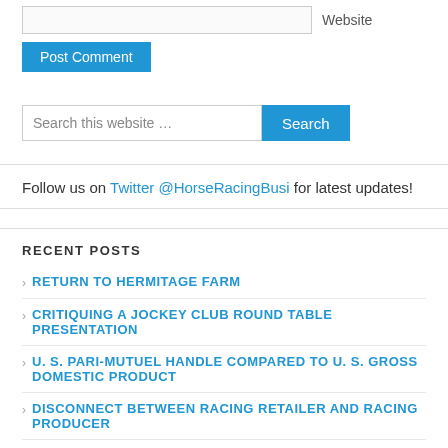Website
Post Comment
Search this website …
Follow us on Twitter @HorseRacingBusi for latest updates!
RECENT POSTS
RETURN TO HERMITAGE FARM
CRITIQUING A JOCKEY CLUB ROUND TABLE PRESENTATION
U. S. PARI-MUTUEL HANDLE COMPARED TO U. S. GROSS DOMESTIC PRODUCT
DISCONNECT BETWEEN RACING RETAILER AND RACING PRODUCER